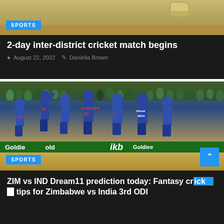[Figure (photo): Cricket ground image with shoe visible, partial view]
[Figure (other): SPORTS badge in blue]
2-day inter-district cricket match begins
August 22, 2022  Daniella Brown
[Figure (photo): Indian cricket team in blue jerseys celebrating on field, players wearing numbers 73 and 57 (D.Hooda), Goldies sponsor board visible. SPORTS badge in blue corner.]
ZIM vs IND Dream11 prediction today: Fantasy cricket tips for Zimbabwe vs India 3rd ODI